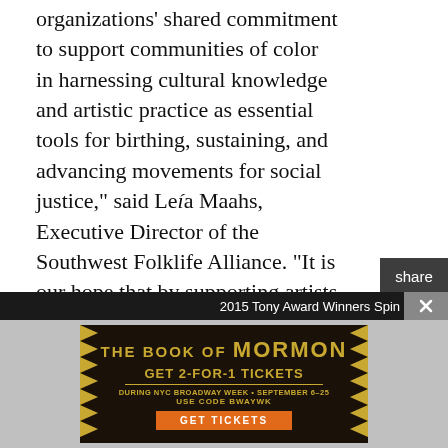organizations' shared commitment to support communities of color in harnessing cultural knowledge and artistic practice as essential tools for birthing, sustaining, and advancing movements for social justice," said Leía Maahs, Executive Director of the Southwest Folklife Alliance. "It is our hope that by supporting artists and their communities as visionary leaders of change, that the Catalyst for Change Fellowship will advance creative solutions to racial injustice."
The Catalyst for Change (CFC) Fellowship is open to Latinx artists and culture workers located in the U.S. and Puerto Rico with the potential to utilize
[Figure (other): Social share sidebar with Twitter and Facebook icons on dark background]
[Figure (other): Advertisement for The Book of Mormon musical - GET 2-FOR-1 TICKETS during NYC Broadway Week September 6-25, use code BWAYWK]